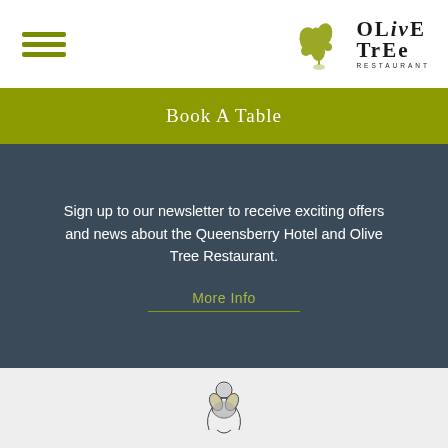Olive Tree Restaurant – navigation header with hamburger menu and logo
Book A Table
Sign up to our newsletter to receive exciting offers and news about the Queensberry Hotel and Olive Tree Restaurant.
More Info
[Figure (illustration): Small decorative illustration of olive tree / cherub figure at bottom of page]